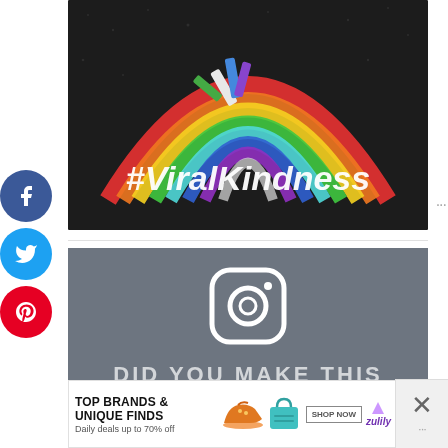[Figure (photo): Chalk rainbow drawn on dark pavement with chalk sticks visible, with white bold italic text overlay reading #ViralKindness]
[Figure (logo): Instagram logo icon (white rounded square camera icon) centered on grey-blue background]
DID YOU MAKE THIS RECIPE?
Tag @loveandzest on Instagram and hashtag it #loveandzest
[Figure (screenshot): Advertisement banner: TOP BRANDS & UNIQUE FINDS — Daily deals up to 70% off — Zulily SHOP NOW ad with shoe and bag images]